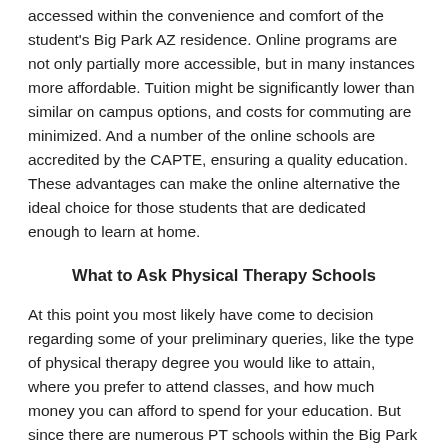accessed within the convenience and comfort of the student's Big Park AZ residence. Online programs are not only partially more accessible, but in many instances more affordable. Tuition might be significantly lower than similar on campus options, and costs for commuting are minimized. And a number of the online schools are accredited by the CAPTE, ensuring a quality education. These advantages can make the online alternative the ideal choice for those students that are dedicated enough to learn at home.
What to Ask Physical Therapy Schools
At this point you most likely have come to decision regarding some of your preliminary queries, like the type of physical therapy degree you would like to attain, where you prefer to attend classes, and how much money you can afford to spend for your education. But since there are numerous PT schools within the Big Park AZ area and throughout Arizona,